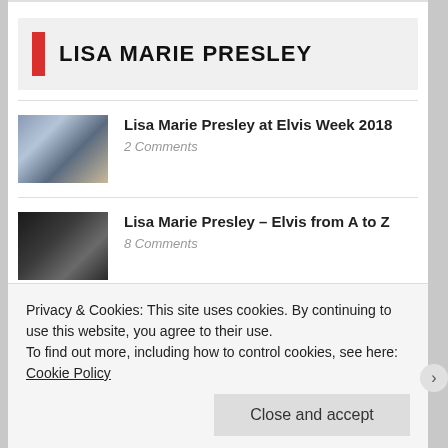LISA MARIE PRESLEY
Lisa Marie Presley at Elvis Week 2018
2 Comments
Lisa Marie Presley – Elvis from A to Z
8 Comments
My Weekend with Lisa Marie Presley
2 Comments
Privacy & Cookies: This site uses cookies. By continuing to use this website, you agree to their use.
To find out more, including how to control cookies, see here: Cookie Policy
Close and accept